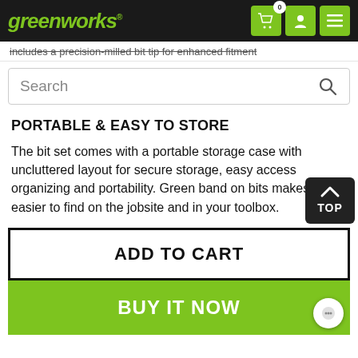greenworks
includes a precision-milled bit tip for enhanced fitment
Search
PORTABLE & EASY TO STORE
The bit set comes with a portable storage case with uncluttered layout for secure storage, easy access organizing and portability. Green band on bits makes it easier to find on the jobsite and in your toolbox.
ADD TO CART
BUY IT NOW